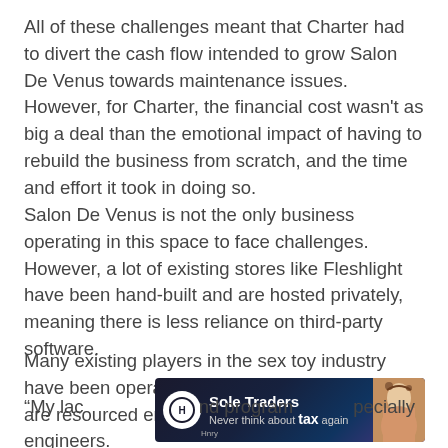All of these challenges meant that Charter had to divert the cash flow intended to grow Salon De Venus towards maintenance issues. However, for Charter, the financial cost wasn't as big a deal than the emotional impact of having to rebuild the business from scratch, and the time and effort it took in doing so.
Salon De Venus is not the only business operating in this space to face challenges. However, a lot of existing stores like Fleshlight have been hand-built and are hosted privately, meaning there is less reliance on third-party software.
Many existing players in the sex toy industry have been operational for a decade or more and are resourced enough to afford its own engineers.
[Figure (other): Advertisement banner for Sole Traders by Hnry. Dark blue/purple gradient background with circular logo, text 'Sole Traders Never think about tax again', and a photo of a woman on the right side.]
“My lac...nd program...pecially